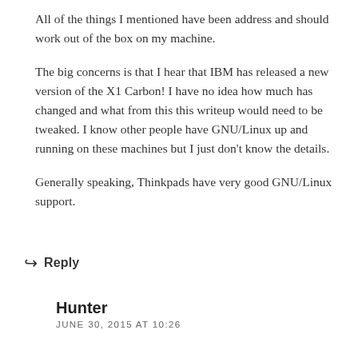All of the things I mentioned have been address and should work out of the box on my machine.
The big concerns is that I hear that IBM has released a new version of the X1 Carbon! I have no idea how much has changed and what from this this writeup would need to be tweaked. I know other people have GNU/Linux up and running on these machines but I just don't know the details.
Generally speaking, Thinkpads have very good GNU/Linux support.
↩ Reply
Hunter
JUNE 30, 2015 AT 10:26